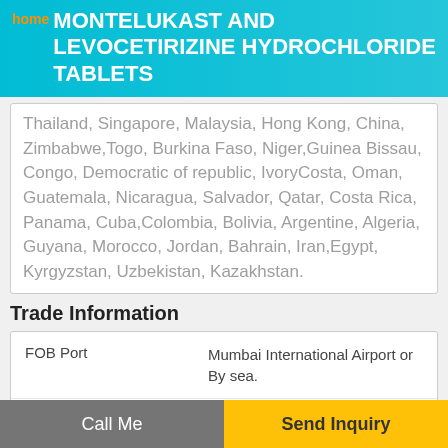home MONTELUKAST AND LEVOCETIRIZINE HYDROCHLORIDE TABLETS
Thailand, Singapore, Malaysia, Hong Kong, China, Zimbabwe,Togo, Burkina Faso, Niger,Guinea Bissau, Congo, Democratic of republic, IvoryCosta, Oman, Guatemala, Nicaragua, Salvador, Qatar, Costa Rica, Panama, Cuba,Colombia, Bolivia, Argentine, Algeria, Guyana, Morocco, Jordan, Bahrain, Iran,Egypt, Kyrgyzstan, Uzbekistan, Kazakhstan.
Trade Information
|  |  |
| --- | --- |
| FOB Port | Mumbai International Airport or By sea. |
| Payment Terms | Paypal, Western Union, Telegraphic Transfer (T/T), Letter of Credit at Sight (Sight L/C), Letter of Credit (L/C), Delivery Point (DP), Days after Acceptance (DA), Cheque, Cash in Advance (CID), Cash Advance (CA) |